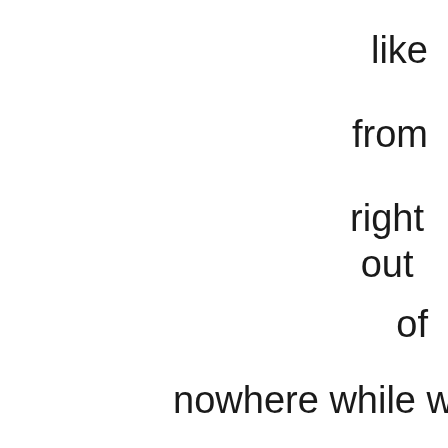like
from
right
out
of
nowhere while w
are
at